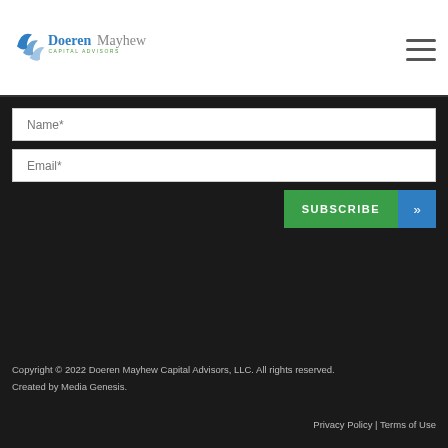[Figure (logo): Doeren Mayhew Capital Advisors logo with blue swoosh icon and text]
Name*
Email*
SUBSCRIBE »
Copyright © 2022 Doeren Mayhew Capital Advisors, LLC. All rights reserved.
Created by Media Genesis.
Privacy Policy | Terms of Use